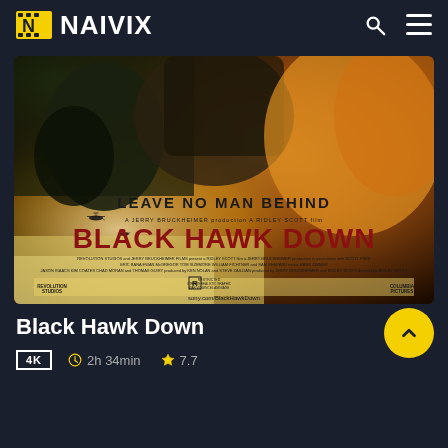NAIVIX
[Figure (photo): Black Hawk Down movie poster showing a helicopter and soldiers with text 'LEAVE NO MAN BEHIND' and 'BLACK HAWK DOWN' in red letters]
Black Hawk Down
4K   2h 34min   7.7